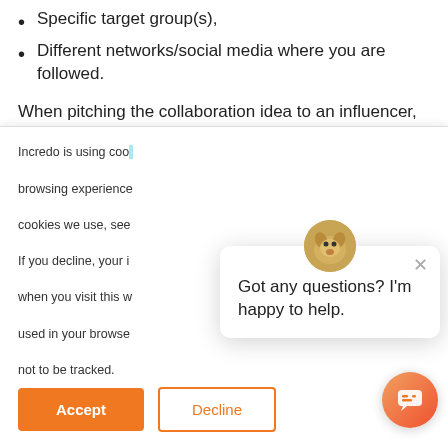Specific target group(s),
Different networks/social media where you are followed.
When pitching the collaboration idea to an influencer, this segment will explain how your product is relevant to their audience. Any influencer will much rather accept an opportunity to offer something useful to his/her target group, making it a win-win promotion strategy.
[Figure (other): Cyan/teal horizontal bar divider]
Incredo is using cookies to ensure you have a solid browsing experience. For information about the cookies we use, see
If you decline, your information won't be tracked when you visit this website. A single cookie will be used in your browser to remember your preference not to be tracked.
Got any questions? I'm happy to help.